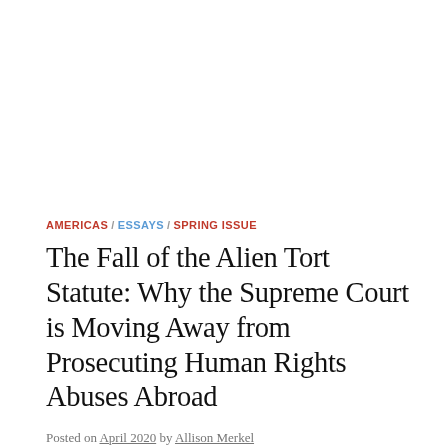AMERICAS / ESSAYS / SPRING ISSUE
The Fall of the Alien Tort Statute: Why the Supreme Court is Moving Away from Prosecuting Human Rights Abuses Abroad
Posted on April 2020 by Allison Merkel
Introduction In 2003, a terrorist detonated a suicide bomb while on board a bus in Haifa. This event was part of a larger series of attacks against Israelis — a...